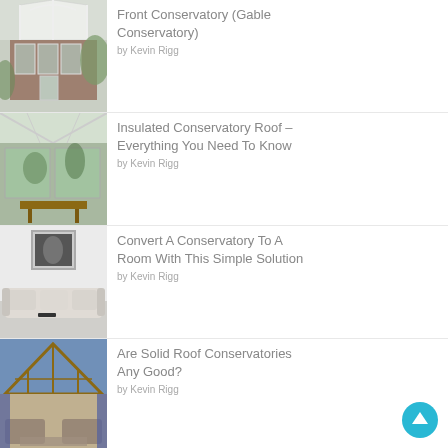[Figure (photo): White metal-framed gable conservatory exterior attached to a brick house]
Front Conservatory (Gable Conservatory)
by Kevin Rigg
[Figure (photo): Interior view of a glass conservatory with garden views and wooden table]
Insulated Conservatory Roof – Everything You Need To Know
by Kevin Rigg
[Figure (photo): A conservatory room with white sofa and framed artwork on wall]
Convert A Conservatory To A Room With This Simple Solution
by Kevin Rigg
[Figure (photo): Interior of a conservatory with large wooden-framed gable roof windows and seating area]
Are Solid Roof Conservatories Any Good?
by Kevin Rigg